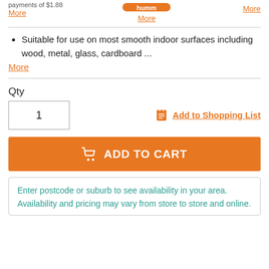More | humm More | More
Suitable for use on most smooth indoor surfaces including wood, metal, glass, cardboard ...
More
Qty
1
Add to Shopping List
ADD TO CART
Enter postcode or suburb to see availability in your area. Availability and pricing may vary from store to store and online.